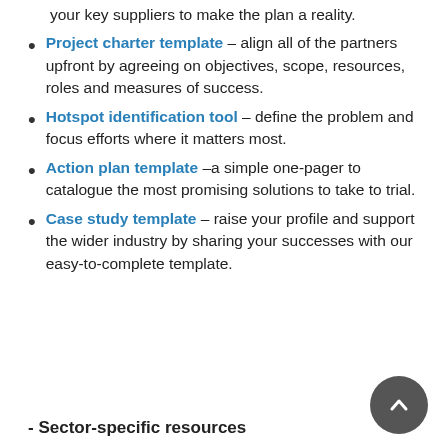your key suppliers to make the plan a reality.
Project charter template – align all of the partners upfront by agreeing on objectives, scope, resources, roles and measures of success.
Hotspot identification tool – define the problem and focus efforts where it matters most.
Action plan template –a simple one-pager to catalogue the most promising solutions to take to trial.
Case study template – raise your profile and support the wider industry by sharing your successes with our easy-to-complete template.
- Sector-specific resources